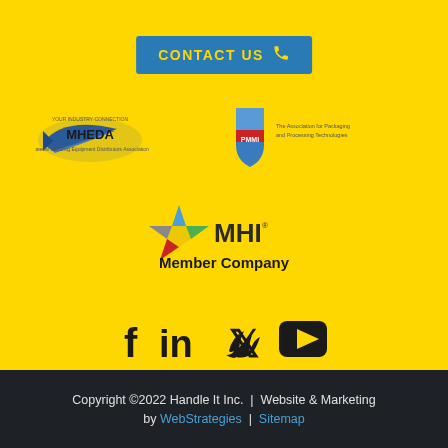[Figure (other): CONTACT US button with phone icon on blue background]
[Figure (logo): MHEDA (Your Industry Connection - Material Handling Equipment Distributors Association) logo]
[Figure (logo): PMMI (The Association for Packaging and Processing Technologies) logo]
[Figure (logo): MHI Member Company logo with multicolor star]
[Figure (other): Social media icons: Facebook, LinkedIn, Twitter, YouTube]
Copyright ©2022 Handle It Inc. | Website & Marketing by WebStrategies | Sitemap